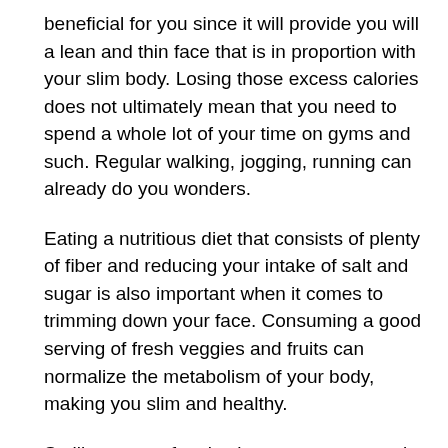beneficial for you since it will provide you will a lean and thin face that is in proportion with your slim body. Losing those excess calories does not ultimately mean that you need to spend a whole lot of your time on gyms and such. Regular walking, jogging, running can already do you wonders.
Eating a nutritious diet that consists of plenty of fiber and reducing your intake of salt and sugar is also important when it comes to trimming down your face. Consuming a good serving of fresh veggies and fruits can normalize the metabolism of your body, making you slim and healthy.
Smiling more often is also a great way to trim up your face. This expression is a wonderful facial exercise that will help you in terms of how to lose cheek fat. So, smile more! It will make you and the others around feel good – try it!